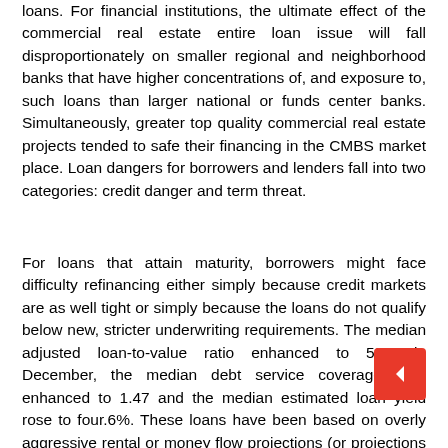loans. For financial institutions, the ultimate effect of the commercial real estate entire loan issue will fall disproportionately on smaller regional and neighborhood banks that have higher concentrations of, and exposure to, such loans than larger national or funds center banks. Simultaneously, greater top quality commercial real estate projects tended to safe their financing in the CMBS market place. Loan dangers for borrowers and lenders fall into two categories: credit danger and term threat.
For loans that attain maturity, borrowers might face difficulty refinancing either simply because credit markets are as well tight or simply because the loans do not qualify below new, stricter underwriting requirements. The median adjusted loan-to-value ratio enhanced to 58% in December, the median debt service coverage ratio enhanced to 1.47 and the median estimated loan yield rose to four.6%. These loans have been based on overly aggressive rental or money flow projections (or projections that have been only sustainable below these circumstances), had greater levels of allowable leverage, and were not soundly underwritten.